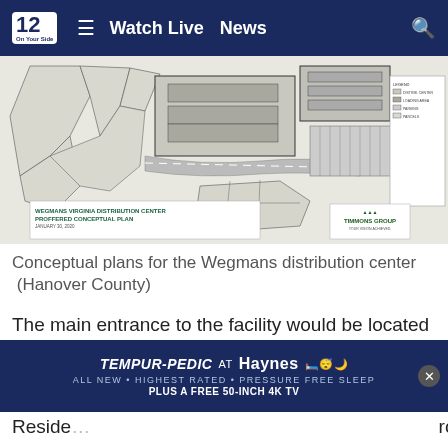12 On Your Side  ≡  Watch Live  News  🔍
[Figure (engineering-diagram): Wegmans Virginia Distribution Center Proffered Conceptual Plan site plan map, January 30, 2020, prepared by Timmons Group. Shows building footprints, parcels, parking areas, and legend.]
Conceptual plans for the Wegmans distribution center  (Hanover County)
The main entrance to the facility would be located just north of Brook Spring Road, close to where the four-lane widening project of Sliding Hill Road from New Ashcake Road down to the intersection with Atlee Station Road/L...
Reside...  ...roject